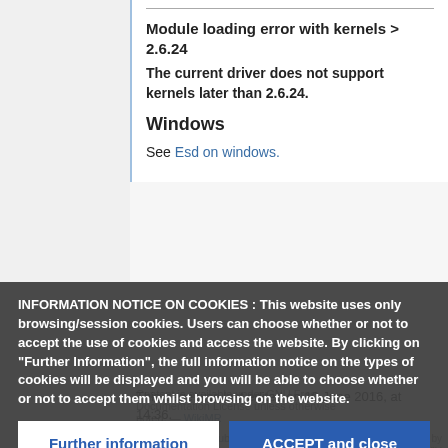Module loading error with kernels > 2.6.24
The current driver does not support kernels later than 2.6.24.
Windows
See Esd on windows.
This page was last edited on 10 June 2016, at 14:36.
INFORMATION NOTICE ON COOKIES : This website uses only browsing/session cookies. Users can choose whether or not to accept the use of cookies and access the website. By clicking on "Further Information", the full information notice on the types of cookies will be displayed and you will be able to choose whether or not to accept them whilst browsing on the website.